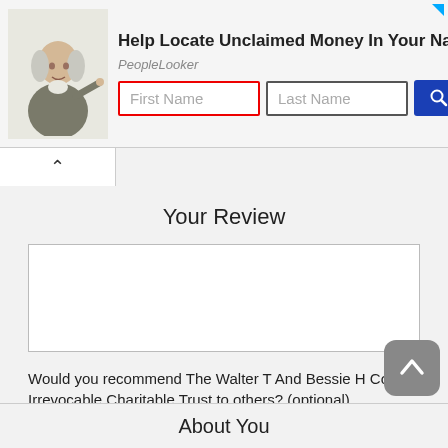[Figure (screenshot): Ad banner: Help Locate Unclaimed Money In Your Name - PeopleLooker, with First Name and Last Name input fields and a Search button]
Your Review
Would you recommend The Walter T And Bessie H Cooper Irrevocable Charitable Trust to others? (optional)
○ Yes  ○ No
📷 Add photo of The Walter T And Bessie H Cooper Irrevocable Charitable Trust (optional)
Choose Files  No file chosen
About You